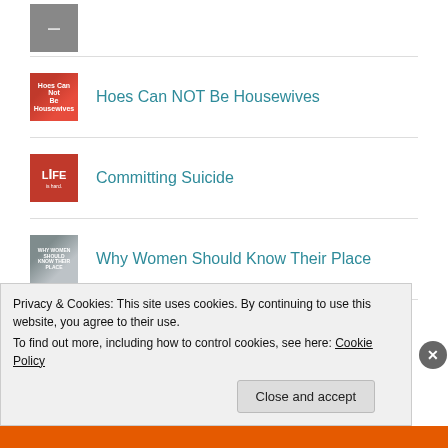[Figure (photo): Partially visible thumbnail image at top]
Hoes Can NOT Be Housewives
Committing Suicide
Why Women Should Know Their Place
I Feel Cheated
Privacy & Cookies: This site uses cookies. By continuing to use this website, you agree to their use.
To find out more, including how to control cookies, see here: Cookie Policy
Close and accept